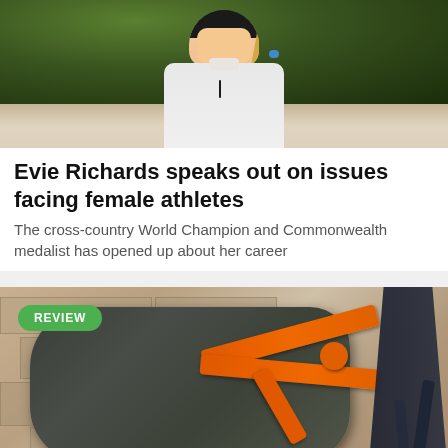[Figure (photo): Female cyclist wearing a white jersey and helmet, smiling, with green bokeh background]
Evie Richards speaks out on issues facing female athletes
The cross-country World Champion and Commonwealth medalist has opened up about her career
[Figure (photo): Birzman Packman Saddle Pack with orange straps mounted on a bicycle, review badge visible]
Birzman Packman Saddle Pack (with waterproof carrier) review £90.00
A versatile, supremely reliable and sturdy